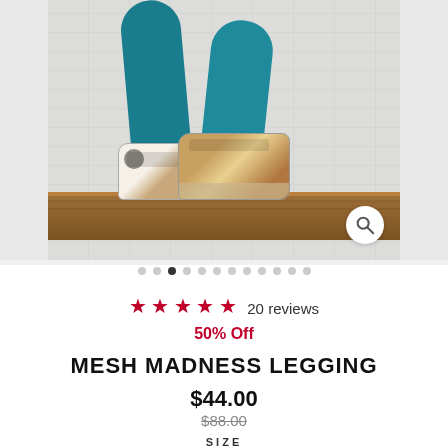[Figure (photo): Product photo showing person wearing teal/blue leggings with leopard-print sneakers, seated on a wood bench against a white brick wall background. Image carousel with magnify icon.]
20 reviews (5 star rating)
50% Off
MESH MADNESS LEGGING
$44.00
$88.00
SIZE